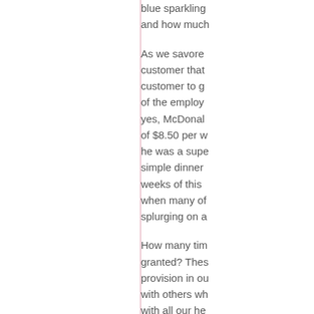blue sparkling and how much
As we savore customer that customer to g of the employ yes, McDonal of $8.50 per w he was a supe simple dinner weeks of this when many of splurging on a
How many tim granted? Thes provision in ou with others wh with all our he